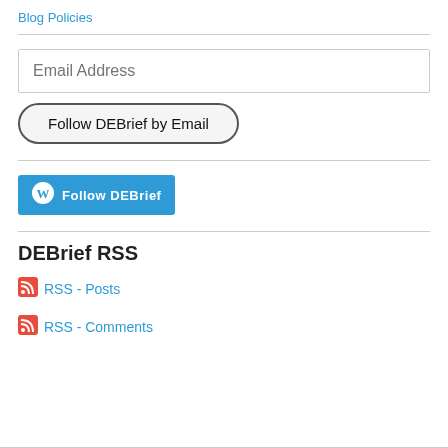Blog Policies
Email Address
Follow DEBrief by Email
[Figure (screenshot): Follow DEBrief WordPress button - blue rounded rectangle with WordPress logo and text 'Follow DEBrief']
DEBrief RSS
RSS - Posts
RSS - Comments